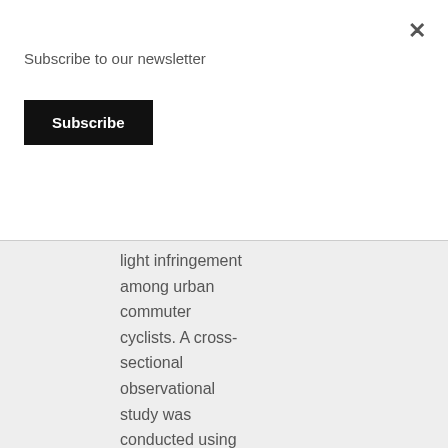Subscribe to our newsletter
Subscribe
light infringement among urban commuter cyclists. A cross-sectional observational study was conducted using a covert video camera to record cyclists at 10